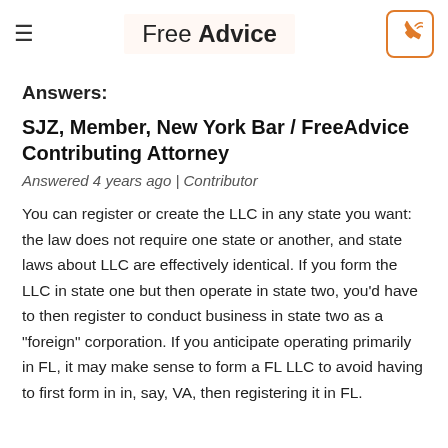Free Advice
Answers:
SJZ, Member, New York Bar / FreeAdvice Contributing Attorney
Answered 4 years ago | Contributor
You can register or create the LLC in any state you want: the law does not require one state or another, and state laws about LLC are effectively identical. If you form the LLC in state one but then operate in state two, you'd have to then register to conduct business in state two as a "foreign" corporation. If you anticipate operating primarily in FL, it may make sense to form a FL LLC to avoid having to first form in in, say, VA, then registering it in FL.